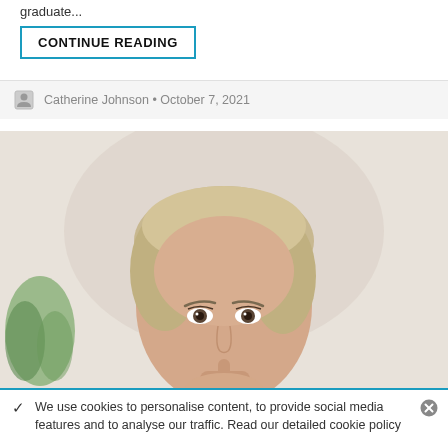graduate...
CONTINUE READING
Catherine Johnson • October 7, 2021
[Figure (photo): Close-up photo of a middle-aged blonde woman looking at the camera, with a blurred light background and a plant visible in the lower left corner.]
✓  We use cookies to personalise content, to provide social media features and to analyse our traffic. Read our detailed cookie policy